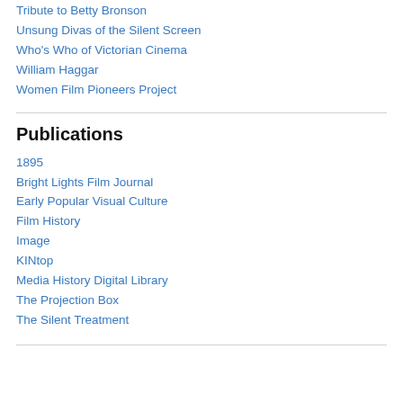Tribute to Betty Bronson
Unsung Divas of the Silent Screen
Who's Who of Victorian Cinema
William Haggar
Women Film Pioneers Project
Publications
1895
Bright Lights Film Journal
Early Popular Visual Culture
Film History
Image
KINtop
Media History Digital Library
The Projection Box
The Silent Treatment